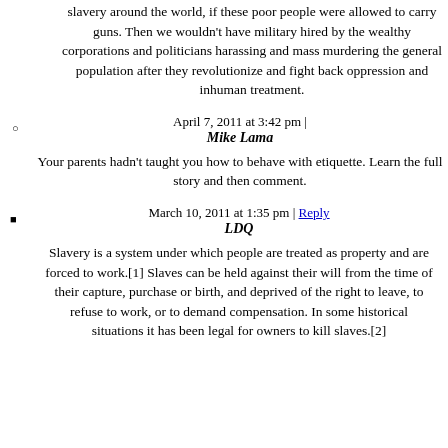slavery around the world, if these poor people were allowed to carry guns. Then we wouldn't have military hired by the wealthy corporations and politicians harassing and mass murdering the general population after they revolutionize and fight back oppression and inhuman treatment.
April 7, 2011 at 3:42 pm | Mike Lama
Your parents hadn't taught you how to behave with etiquette. Learn the full story and then comment.
March 10, 2011 at 1:35 pm | Reply LDQ
Slavery is a system under which people are treated as property and are forced to work.[1] Slaves can be held against their will from the time of their capture, purchase or birth, and deprived of the right to leave, to refuse to work, or to demand compensation. In some historical situations it has been legal for owners to kill slaves.[2]